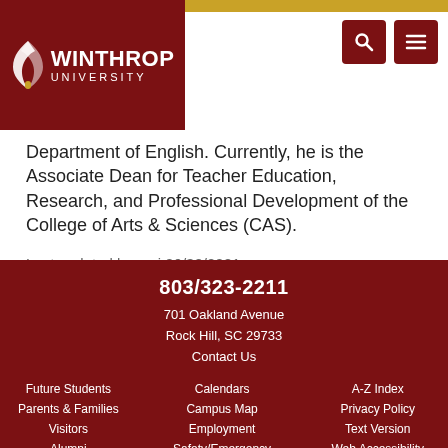[Figure (logo): Winthrop University logo with wing icon on dark red background]
Department of English. Currently, he is the Associate Dean for Teacher Education, Research, and Professional Development of the College of Arts & Sciences (CAS).
Last updated by rayj 06/30/2021
803/323-2211
701 Oakland Avenue
Rock Hill, SC 29733
Contact Us
Future Students  Calendars  A-Z Index
Parents & Families  Campus Map  Privacy Policy
Visitors  Employment  Text Version
Alumni  Safety/Emergency  Web Accessibility
Faculty & Staff  Give Now  Web Site Feedback
Current Students  Office of Accessibility  Title IX